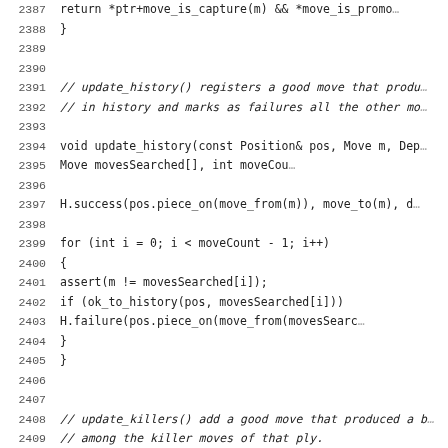Source code listing, lines 2387-2419
[Figure (screenshot): C++ source code showing update_history() and update_killers() functions with line numbers 2387-2419]